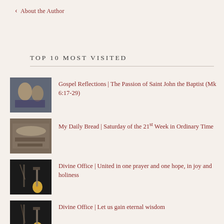About the Author
TOP 10 MOST VISITED
Gospel Reflections | The Passion of Saint John the Baptist (Mk 6:17-29)
My Daily Bread | Saturday of the 21st Week in Ordinary Time
Divine Office | United in one prayer and one hope, in joy and holiness
Divine Office | Let us gain eternal wisdom
Saints Alive! | St. Monica
My Daily Bread | 22nd Sunday in Ordinary